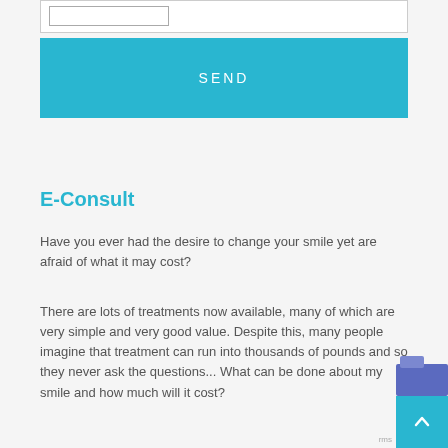[Figure (screenshot): Input field at top of page — a white box with an inner form element visible]
[Figure (screenshot): SEND button — large teal/cyan colored button with white text reading SEND]
E-Consult
Have you ever had the desire to change your smile yet are afraid of what it may cost?
There are lots of treatments now available, many of which are very simple and very good value. Despite this, many people imagine that treatment can run into thousands of pounds and so they never ask the questions... What can be done about my smile and how much will it cost?